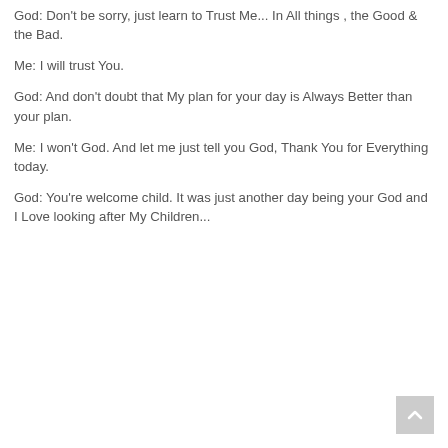God: Don't be sorry, just learn to Trust Me... In All things , the Good & the Bad.
Me: I will trust You.
God: And don't doubt that My plan for your day is Always Better than your plan.
Me: I won't God. And let me just tell you God, Thank You for Everything today.
God: You're welcome child. It was just another day being your God and I Love looking after My Children...